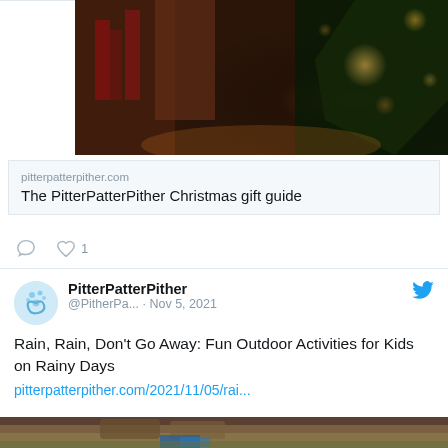[Figure (photo): Christmas tree with ornaments and lights, blurred bokeh background]
pitterpatterpither.com
The PitterPatterPither Christmas gift guide
[Figure (screenshot): Tweet by PitterPatterPither (@PitherPa...) on Nov 5, 2021 about Rain, Rain, Don't Go Away: Fun Outdoor Activities for Kids on Rainy Days with link pitterpatterpither.com/2021/11/05/rai...]
[Figure (photo): Child's boots on grass/ground, outdoor scene]